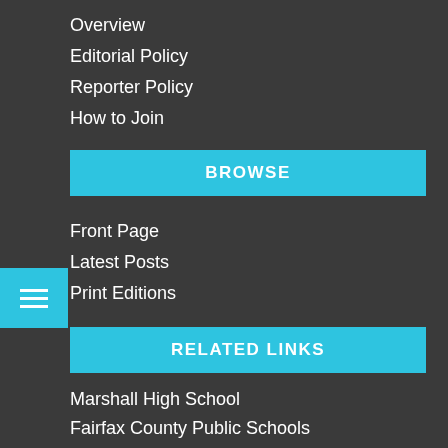Overview
Editorial Policy
Reporter Policy
How to Join
BROWSE
Front Page
Latest Posts
Print Editions
RELATED LINKS
Marshall High School
Fairfax County Public Schools
Quill & Scroll
Columbia Scholastic Press Association
National Scholastic Press Association